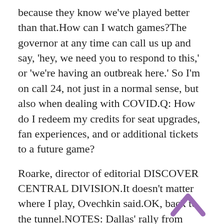because they know we've played better than that.How can I watch games?The governor at any time can call us up and say, 'hey, we need you to respond to this,' or 'we're having an outbreak here.' So I'm on call 24, not just in a normal sense, but also when dealing with COVID.Q: How do I redeem my credits for seat upgrades, fan experiences, and or additional tickets to a future game?
Roarke, director of editorial DISCOVER CENTRAL DIVISION.It doesn't matter where I play, Ovechkin said.OK, back to the tunnel.NOTES: Dallas' rally from down 3 was the first since Calgary defeated the Vancouver Canucks 7 in Game 6 of the 2015 Western Conference First Round.something else to put on the list of accomplishments, he said.Blues game.